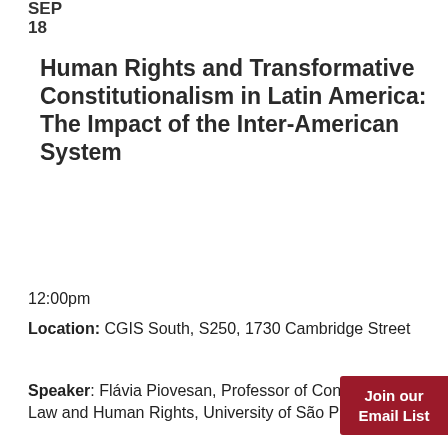SEP
18
Human Rights and Transformative Constitutionalism in Latin America: The Impact of the Inter-American System
12:00pm
Location: CGIS South, S250, 1730 Cambridge Street
Speaker: Flávia Piovesan, Professor of Constitutional Law and Human Rights, University of São Paulo
Join our Email List